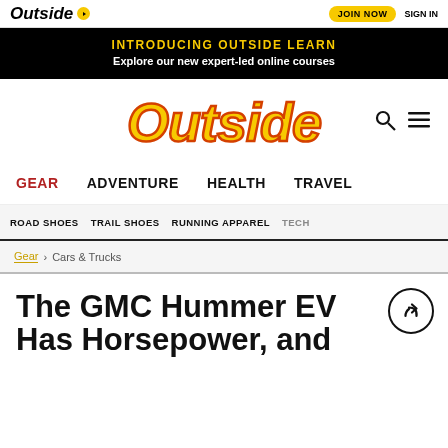Outside | JOIN NOW | SIGN IN
INTRODUCING OUTSIDE LEARN
Explore our new expert-led online courses
[Figure (logo): Outside magazine large yellow italic logo with red text stroke]
GEAR  ADVENTURE  HEALTH  TRAVEL
ROAD SHOES  TRAIL SHOES  RUNNING APPAREL  TECH
Gear > Cars & Trucks
The GMC Hummer EV Has Horsepower, and